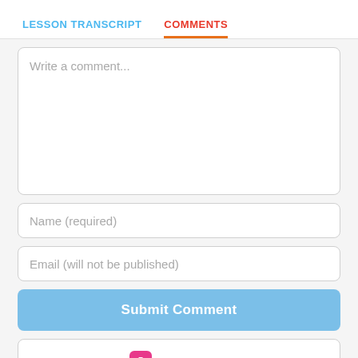LESSON TRANSCRIPT   COMMENTS
Write a comment...
Name (required)
Email (will not be published)
Submit Comment
PINNED COMMENT
CantoneseClass101.com